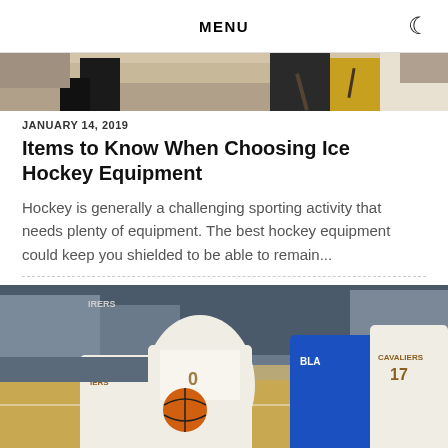MENU
[Figure (photo): Partial view of ice hockey players in action, top portion cropped]
JANUARY 14, 2019
Items to Know When Choosing Ice Hockey Equipment
Hockey is generally a challenging sporting activity that needs plenty of equipment. The best hockey equipment could keep you shielded to be able to remain...
[Figure (photo): Basketball players in action on indoor court, Cavaliers players in white jerseys vs. Philadelphia 76ers player in blue]
JANUARY 20, 2019